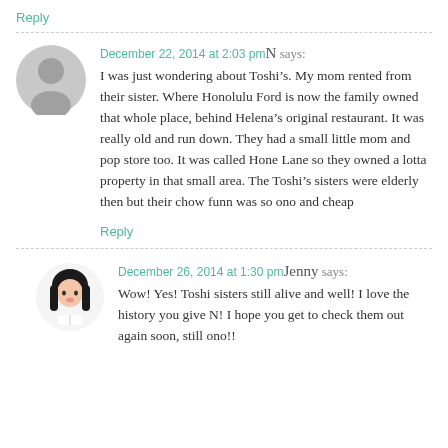Reply
December 22, 2014 at 2:03 pm  N says:
I was just wondering about Toshi’s. My mom rented from their sister. Where Honolulu Ford is now the family owned that whole place, behind Helena’s original restaurant. It was really old and run down. They had a small little mom and pop store too. It was called Hone Lane so they owned a lotta property in that small area. The Toshi’s sisters were elderly then but their chow funn was so ono and cheap
Reply
December 26, 2014 at 1:30 pm  Jenny says:
Wow! Yes! Toshi sisters still alive and well! I love the history you give N! I hope you get to check them out again soon, still ono!!